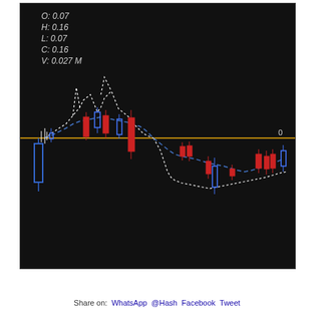[Figure (continuous-plot): Financial candlestick chart on dark background showing OHLC data with candles (red and blue), a dashed blue moving average line, a dotted white envelope/band, and a horizontal gold zero line. Overlay text shows O: 0.07, H: 0.16, L: 0.07, C: 0.16, V: 0.027 M. Label '0' on right axis.]
Share on:  WhatsApp  @Hash  Facebook  Tweet